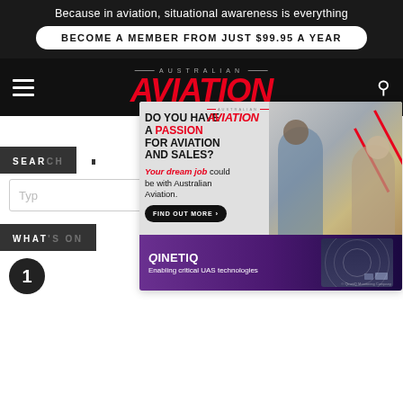Because in aviation, situational awareness is everything
BECOME A MEMBER FROM JUST $99.95 A YEAR
[Figure (logo): Australian Aviation magazine logo with red italic AVIATION text on dark background, hamburger menu icon left, search icon right]
SEARCH
Type...
WHAT'S ON
1
[Figure (advertisement): Australian Aviation job advertisement overlay: DO YOU HAVE A PASSION FOR AVIATION AND SALES? Your dream job could be with Australian Aviation. FIND OUT MORE button. Photo of two professionals. Bottom banner: QinetIQ - Enabling critical UAS technologies with radar imagery.]